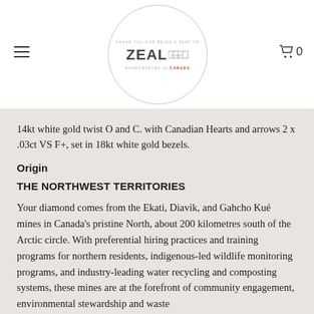[Figure (logo): Zeal Crystal logo inside a circle. Text reads: THANK YOU FOR BEING A PART OF, ZEAL (with stylized crystal graphic), handcrafted in CANADA]
14kt white gold twist O and C. with Canadian Hearts and arrows 2 x .03ct VS F+, set in 18kt white gold bezels.
Origin
THE NORTHWEST TERRITORIES
Your diamond comes from the Ekati, Diavik, and Gahcho Kué mines in Canada's pristine North, about 200 kilometres south of the Arctic circle. With preferential hiring practices and training programs for northern residents, indigenous-led wildlife monitoring programs, and industry-leading water recycling and composting systems, these mines are at the forefront of community engagement, environmental stewardship and waste